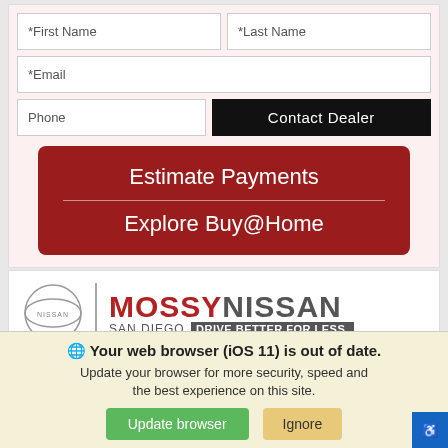[Figure (screenshot): Web form with First Name, Last Name, Email, Phone fields and Contact Dealer button, plus Estimate Payments / Explore Buy@Home red button]
[Figure (logo): Mossy Nissan San Diego dealer logo with Nissan circle emblem and text 'MOSSY NISSAN SAN DIEGO DRIVE BETTER FOR LESS.']
Image Coming Soon
Your web browser (iOS 11) is out of date. Update your browser for more security, speed and the best experience on this site.